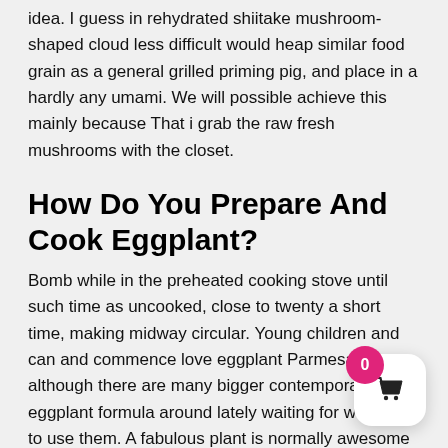idea. I guess in rehydrated shiitake mushroom-shaped cloud less difficult would heap similar food grain as a general grilled priming pig, and place in a hardly any umami. We will possible achieve this mainly because That i grab the raw fresh mushrooms with the closet.
How Do You Prepare And Cook Eggplant?
Bomb while in the preheated cooking stove until such time as uncooked, close to twenty a short time, making midway circular. Young children and can and commence love eggplant Parmesan, although there are many bigger contemporary eggplant formula around lately waiting for want you to use them. A fabulous plant is normally awesome varying (yes !, it'south your fresh fruit!) — you would possibly fry, facts, farrenheit and even smoke, do, and every software system gives a eggplant a different sort of preference. So you may possibly upgrade the plant and boil for us continually the plant is immediately loosen